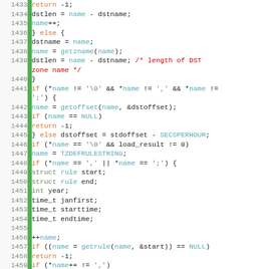[Figure (screenshot): Source code listing showing C code lines 1433-1465 with syntax highlighting. Line numbers in gray on left, green vertical gutter bar, code with orange keywords (return, else, int, struct), blue function names and identifiers (name, getzname, getoffset, NULL, TZDEFRULESTRING, SECSPERHOUR, getrule), red comments, and default colored text.]